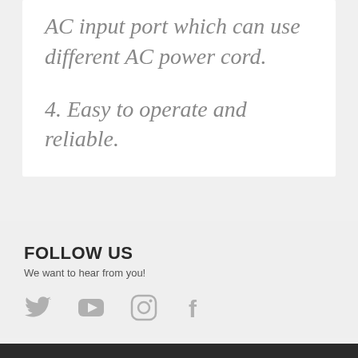AC input port which can use different AC power cord.
4. Easy to operate and reliable.
FOLLOW US
We want to hear from you!
[Figure (infographic): Social media icons: Twitter (bird), YouTube (play button), Instagram (camera), Facebook (f)]